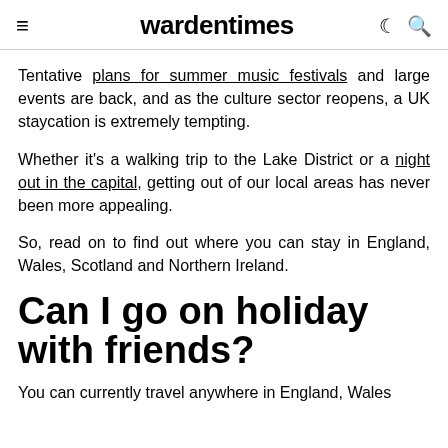wardentimes
Tentative plans for summer music festivals and large events are back, and as the culture sector reopens, a UK staycation is extremely tempting.
Whether it's a walking trip to the Lake District or a night out in the capital, getting out of our local areas has never been more appealing.
So, read on to find out where you can stay in England, Wales, Scotland and Northern Ireland.
Can I go on holiday with friends?
You can currently travel anywhere in England, Wales